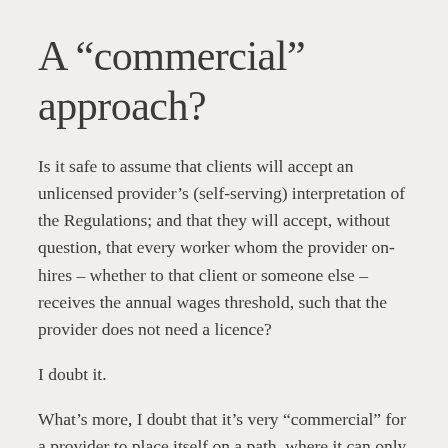A “commercial” approach?
Is it safe to assume that clients will accept an unlicensed provider’s (self-serving) interpretation of the Regulations; and that they will accept, without question, that every worker whom the provider on-hires – whether to that client or someone else – receives the annual wages threshold, such that the provider does not need a licence?
I doubt it.
What’s more, I doubt that it’s very “commercial” for a provider to place itself on a path, where it can only ever supply exempt workers; and set itself up to have to